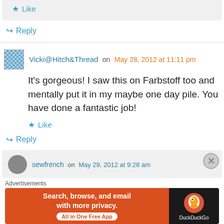★ Like
↪ Reply
Vicki@Hitch&Thread on May 28, 2012 at 11:11 pm
It's gorgeous! I saw this on Farbstoff too and mentally put it in my maybe one day pile. You have done a fantastic job!
★ Like
↪ Reply
sewfrench on May 29, 2012 at 9:28 am
Advertisements
[Figure (infographic): DuckDuckGo advertisement banner: 'Search, browse, and email with more privacy. All in One Free App' with DuckDuckGo duck logo on dark background.]